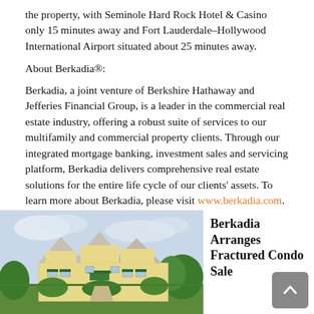the property, with Seminole Hard Rock Hotel & Casino only 15 minutes away and Fort Lauderdale–Hollywood International Airport situated about 25 minutes away.
About Berkadia®:
Berkadia, a joint venture of Berkshire Hathaway and Jefferies Financial Group, is a leader in the commercial real estate industry, offering a robust suite of services to our multifamily and commercial property clients. Through our integrated mortgage banking, investment sales and servicing platform, Berkadia delivers comprehensive real estate solutions for the entire life cycle of our clients' assets. To learn more about Berkadia, please visit www.berkadia.com.
[Figure (photo): Exterior photo of a yellow residential/condo building with dark roof peaks and green awnings, surrounded by trees and greenery.]
Berkadia Arranges Fractured Condo Sale